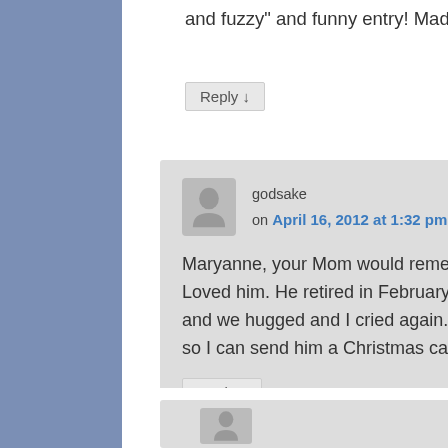and fuzzy" and funny entry! Made my morning!
Reply ↓
godsake on April 16, 2012 at 1:32 pm said:
Maryanne, your Mom would remember Ray. A bear of a man. Big gentle giant. Loved him. He retired in February, 2011… remember? I brought him champagne and we hugged and I cried again. I keep asking the current staff for his address so I can send him a Christmas card.
Reply ↓